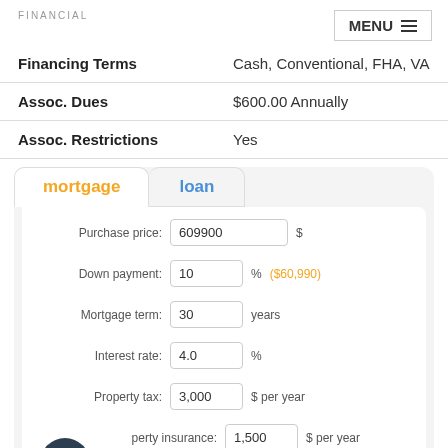FINANCIAL
|  |  |
| --- | --- |
| Financing Terms | Cash, Conventional, FHA, VA |
| Assoc. Dues | $600.00 Annually |
| Assoc. Restrictions | Yes |
mortgage | loan
Purchase price: 609900 $
Down payment: 10 % ($60,990)
Mortgage term: 30 years
Interest rate: 4.0 %
Property tax: 3,000 $ per year
Property insurance: 1,500 $ per year